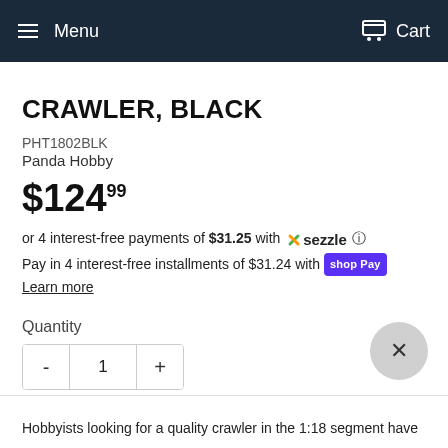Menu  Cart
CRAWLER, BLACK
PHT1802BLK
Panda Hobby
$124.99
or 4 interest-free payments of $31.25 with Sezzle
Pay in 4 interest-free installments of $31.24 with Shop Pay
Learn more
Quantity
- 1 +
Hobbyists looking for a quality crawler in the 1:18 segment have